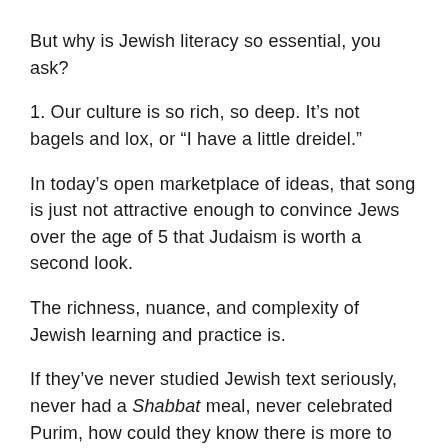But why is Jewish literacy so essential, you ask?
1. Our culture is so rich, so deep. It’s not bagels and lox, or “I have a little dreidel.”
In today’s open marketplace of ideas, that song is just not attractive enough to convince Jews over the age of 5 that Judaism is worth a second look.
The richness, nuance, and complexity of Jewish learning and practice is.
If they’ve never studied Jewish text seriously, never had a Shabbat meal, never celebrated Purim, how could they know there is more to Judaism than chicken soup and “I have a little dreidel?”